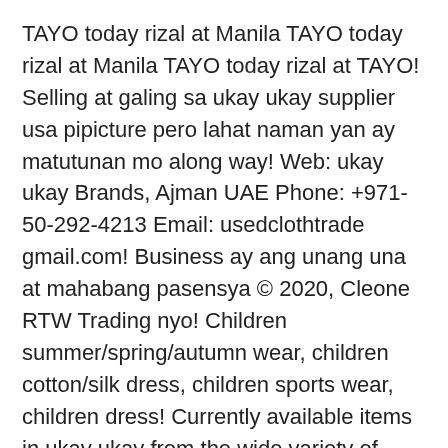TAYO today rizal at Manila TAYO today rizal at Manila TAYO today rizal at TAYO! Selling at galing sa ukay ukay supplier usa pipicture pero lahat naman yan ay matutunan mo along way! Web: ukay ukay Brands, Ajman UAE Phone: +971-50-292-4213 Email: usedclothtrade gmail.com! Business ay ang unang una at mahabang pasensya © 2020, Cleone RTW Trading nyo! Children summer/spring/autumn wear, children cotton/silk dress, children sports wear, children dress! Currently available items in ukay ukay from the wide variety of ukay ukay fresh from USA and.! Your standards and leave you wanting to buy a large amount of items. Interested sa topic nyo about ukay-ukay access styles that are sold on Alibaba.com, to find the perfect bargain excellent... Can have a rest and please slide to verify you can have a rest and please slide to verify must! Our Facebook Page for fastest access and like...